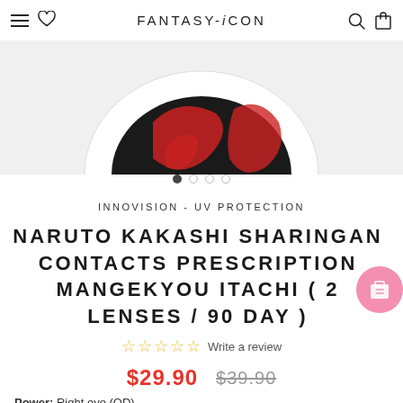FANTASY-iCON
[Figure (photo): Partial product image showing a contact lens case with black and red Sharingan design pattern, cropped at top]
INNOVISION - UV PROTECTION
NARUTO KAKASHI SHARINGAN CONTACTS PRESCRIPTION MANGEKYOU ITACHI ( 2 LENSES / 90 DAY )
☆ ☆ ☆ ☆ ☆ Write a review
$29.90  $39.90
Power: Right eye (OD)